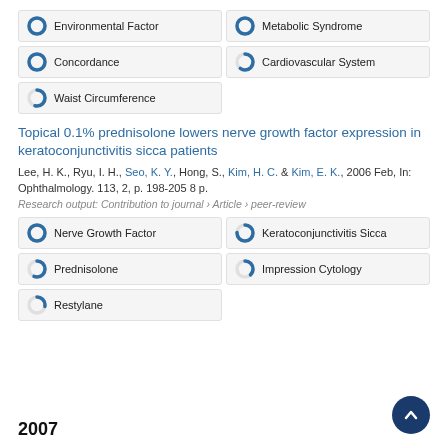[Figure (infographic): Keyword badges with donut icons: Environmental Factor (100%), Metabolic Syndrome (100%), Concordance (100%), Cardiovascular System (~60%), Waist Circumference (~55%)]
Topical 0.1% prednisolone lowers nerve growth factor expression in keratoconjunctivitis sicca patients
Lee, H. K., Ryu, I. H., Seo, K. Y., Hong, S., Kim, H. C. & Kim, E. K., 2006 Feb, In: Ophthalmology. 113, 2, p. 198-205 8 p.
Research output: Contribution to journal › Article › peer-review
[Figure (infographic): Keyword badges with donut icons: Nerve Growth Factor (100%), Keratoconjunctivitis Sicca (~75%), Prednisolone (~60%), Impression Cytology (~40%), Restylane (~30%)]
2007